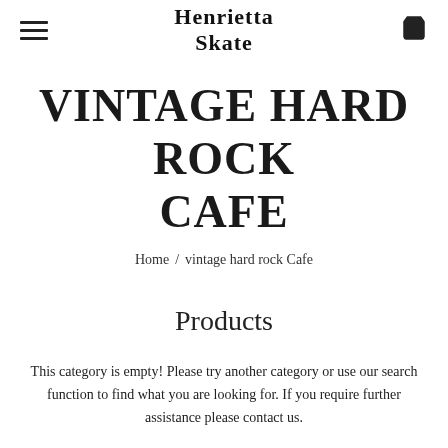Henrietta Skate
VINTAGE HARD ROCK CAFE
Home / vintage hard rock Cafe
Products
This category is empty! Please try another category or use our search function to find what you are looking for. If you require further assistance please contact us.